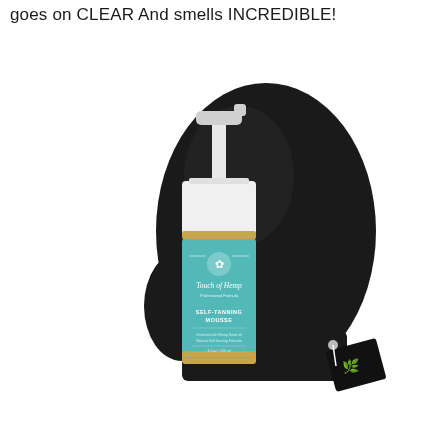goes on CLEAR And smells INCREDIBLE!
[Figure (photo): Touch of Hemp Self-Tanning Mousse bottle with pump dispenser and teal label, alongside a black velvet tanning application mitt with Touch of Hemp branded tag]